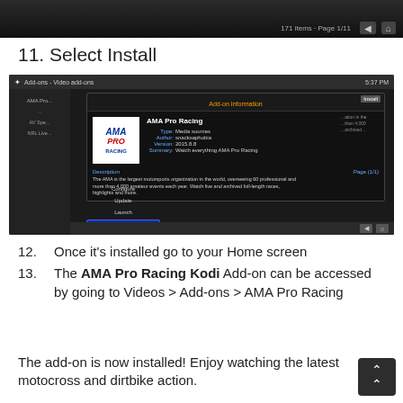[Figure (screenshot): Top partial screenshot of a Kodi add-ons browser UI with navigation arrows]
11. Select Install
[Figure (screenshot): Screenshot of Kodi Add-on Information dialog for AMA Pro Racing showing addon logo, type: Media sources, author: snacksaphobia, version: 2015.8.8, summary: Watch everything AMA Pro Racing, description text, and Install button highlighted in blue]
12. Once it's installed go to your Home screen
13. The AMA Pro Racing Kodi Add-on can be accessed by going to Videos > Add-ons > AMA Pro Racing
The add-on is now installed! Enjoy watching the latest motocross and dirtbike action.